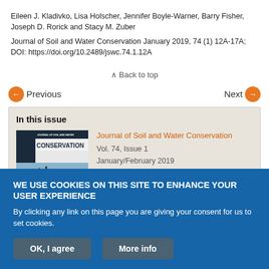Eileen J. Kladivko, Lisa Holscher, Jennifer Boyle-Warner, Barry Fisher, Joseph D. Rorick and Stacy M. Zuber
Journal of Soil and Water Conservation January 2019, 74 (1) 12A-17A; DOI: https://doi.org/10.2489/jswc.74.1.12A
^ Back to top
< Previous
Next >
In this issue
[Figure (illustration): Journal of Soil and Water Conservation cover image showing a winter scene with bare trees against a blue sky]
Journal of Soil and Water Conservation
Vol. 74, Issue 1
January/February 2019
Table of Contents
About the Cover
WE USE COOKIES ON THIS SITE TO ENHANCE YOUR USER EXPERIENCE
By clicking any link on this page you are giving your consent for us to set cookies.
OK, I agree
More info